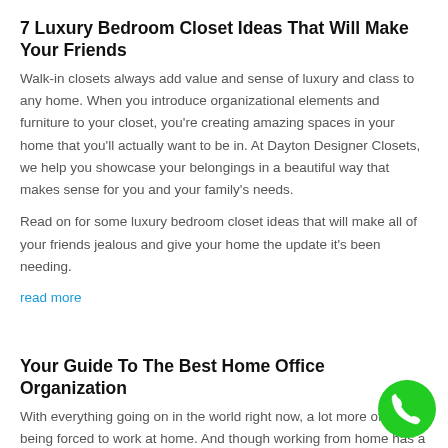7 Luxury Bedroom Closet Ideas That Will Make Your Friends
Walk-in closets always add value and sense of luxury and class to any home. When you introduce organizational elements and furniture to your closet, you’re creating amazing spaces in your home that you’ll actually want to be in. At Dayton Designer Closets, we help you showcase your belongings in a beautiful way that makes sense for you and your family’s needs.
Read on for some luxury bedroom closet ideas that will make all of your friends jealous and give your home the update it’s been needing.
read more
Your Guide To The Best Home Office Organization
With everything going on in the world right now, a lot more of us are being forced to work at home. And though working from home has a plethora of benefits, without the proper organization and storage solutions, it can quickly become a messy and disruptive space. We’ve come up with a few home